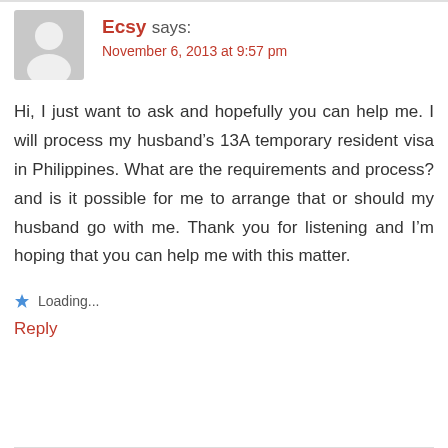Ecsy says:
November 6, 2013 at 9:57 pm
Hi, I just want to ask and hopefully you can help me. I will process my husband’s 13A temporary resident visa in Philippines. What are the requirements and process? and is it possible for me to arrange that or should my husband go with me. Thank you for listening and I’m hoping that you can help me with this matter.
★ Loading...
Reply